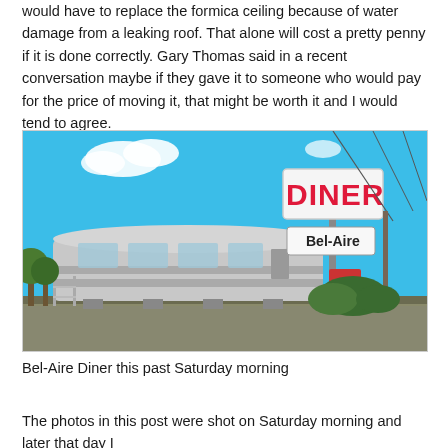would have to replace the formica ceiling because of water damage from a leaking roof. That alone will cost a pretty penny if it is done correctly. Gary Thomas said in a recent conversation maybe if they gave it to someone who would pay for the price of moving it, that might be worth it and I would tend to agree.
[Figure (photo): Exterior photo of the Bel-Aire Diner on a sunny day with bright blue sky. The classic silver diner car is elevated on blocks with scaffolding visible. A tall sign reads DINER in large red letters and Bel-Aire below. Power lines and shrubs are visible in the background.]
Bel-Aire Diner this past Saturday morning
The photos in this post were shot on Saturday morning and later that day I